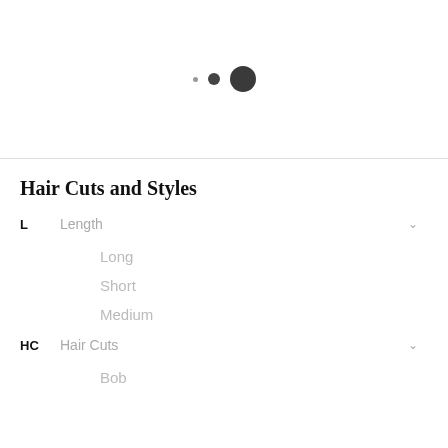[Figure (illustration): Three dots of increasing size arranged horizontally: a small gray dot, a medium dark dot, and a large dark dot, suggesting a loading or progression indicator.]
Hair Cuts and Styles
L  Length
Long
Short
Medium
HC  Hair Cuts
Bob